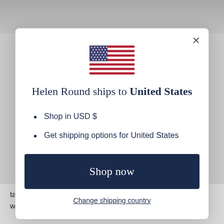[Figure (screenshot): Background image visible at top of page, gray/muted tones]
[Figure (illustration): US flag SVG illustration centered in modal dialog]
Helen Round ships to United States
Shop in USD $
Get shipping options for United States
Shop now
Change shipping country
take on two more local apprentices and watch them learning traditional craft skills, finding out about